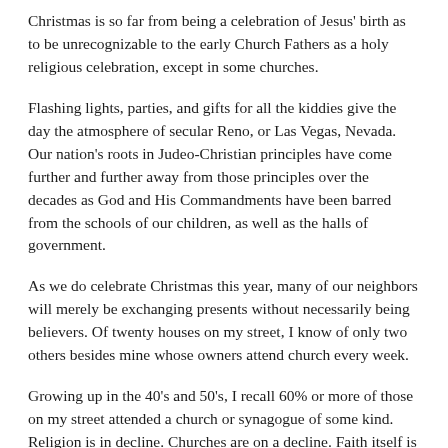Christmas is so far from being a celebration of Jesus' birth as to be unrecognizable to the early Church Fathers as a holy religious celebration, except in some churches.
Flashing lights, parties, and gifts for all the kiddies give the day the atmosphere of secular Reno, or Las Vegas, Nevada. Our nation's roots in Judeo-Christian principles have come further and further away from those principles over the decades as God and His Commandments have been barred from the schools of our children, as well as the halls of government.
As we do celebrate Christmas this year, many of our neighbors will merely be exchanging presents without necessarily being believers. Of twenty houses on my street, I know of only two others besides mine whose owners attend church every week.
Growing up in the 40's and 50's, I recall 60% or more of those on my street attended a church or synagogue of some kind. Religion is in decline. Churches are on a decline. Faith itself is in decline. Yet Christ Jesus still reigns and rules on His throne in heaven. How do I know this?